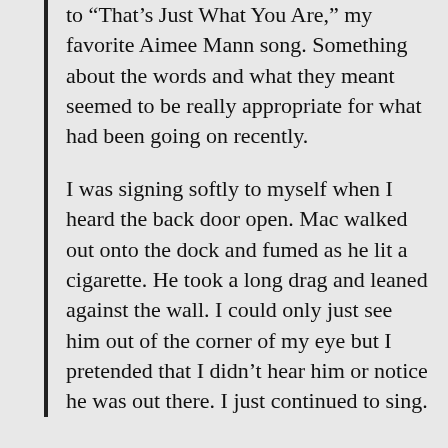to “That’s Just What You Are,” my favorite Aimee Mann song. Something about the words and what they meant seemed to be really appropriate for what had been going on recently.
I was signing softly to myself when I heard the back door open. Mac walked out onto the dock and fumed as he lit a cigarette. He took a long drag and leaned against the wall. I could only just see him out of the corner of my eye but I pretended that I didn’t hear him or notice he was out there. I just continued to sing.
And then Sarem includes a verse and a chorus of the song’s lyrics, so we can see exactly how perfect the song she has chosen for the moment is. If this were fanfiction, we would call this “songfic” and it